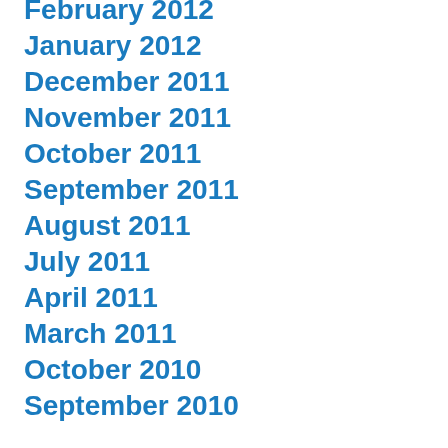February 2012
January 2012
December 2011
November 2011
October 2011
September 2011
August 2011
July 2011
April 2011
March 2011
October 2010
September 2010